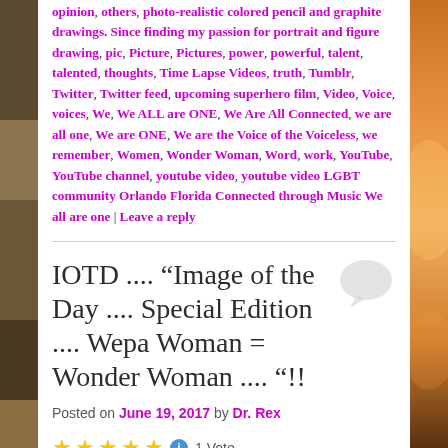opinion, others, photo-realistic colored pencil and graphite drawings. Since finding my passion for portrait and figure drawing, pic, Picture, Pictures, power, powerful, talent, talented, thoughts, Time Lapse Videos, truth, Tumblr, Twitter, Twitter feed, upcoming superhero film, Video, Voice, voices, We, We ALL are ONE, We Are All Connected, we are all one, We are ONE, We are the Voice of the Voiceless, we remember, Women, Wonder Woman, Word, work, YouTube, YouTube channel, youtube video, youtube video LGBT community Orlando Florida Connected through Music We all are one | Leave a reply
IOTD .... "Image of the Day .... Special Edition .... Wepa Woman = Wonder Woman .... "!!
Posted on June 19, 2017 by Dr. Rex
★★★★★ ℹ 1 Vote